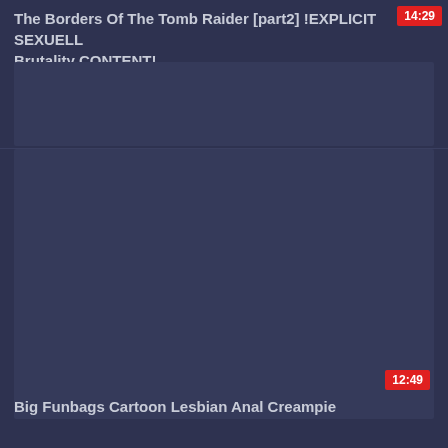The Borders Of The Tomb Raider [part2] !EXPLICIT SEXUELL Brutality CONTENT!
[Figure (screenshot): Dark blue-grey thumbnail placeholder for first video]
Big Funbags Cartoon Lesbian Anal Creampie
[Figure (screenshot): Dark blue-grey thumbnail placeholder for second video]